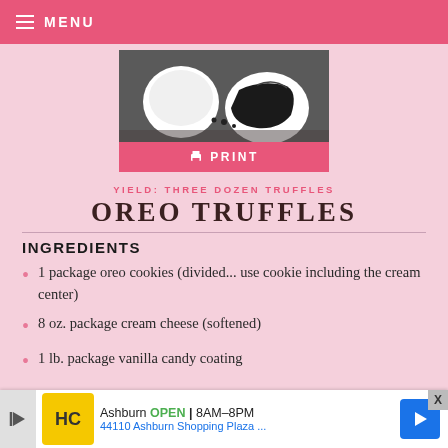MENU
[Figure (photo): Photo of Oreo truffles coated in white chocolate, one broken open showing dark cookie interior]
PRINT
YIELD: THREE DOZEN TRUFFLES
OREO TRUFFLES
INGREDIENTS
1 package oreo cookies (divided... use cookie including the cream center)
8 oz. package cream cheese (softened)
1 lb. package vanilla candy coating
[Figure (other): Advertisement banner: Ashburn OPEN 8AM-8PM, 44110 Ashburn Shopping Plaza...]